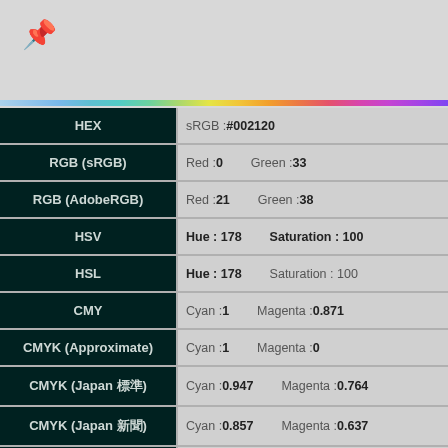[Figure (other): Pin/thumbtack icon in upper left corner]
[Figure (other): Rainbow/spectrum color gradient bar]
| Color Model | Values |
| --- | --- |
| HEX | sRGB : #002120 |
| RGB (sRGB) | Red : 0   Green : 33 |
| RGB (AdobeRGB) | Red : 21   Green : 38 |
| HSV | Hue : 178   Saturation : 100 |
| HSL | Hue : 178   Saturation : 100 |
| CMY | Cyan : 1   Magenta : 0.871 |
| CMYK (Approximate) | Cyan : 1   Magenta : 0 |
| CMYK (Japan 標準) | Cyan : 0.947   Magenta : 0.764 |
| CMYK (Japan 新聞) | Cyan : 0.857   Magenta : 0.637 |
| YCbCr | Y : 23.021   Cb : 5.068 |